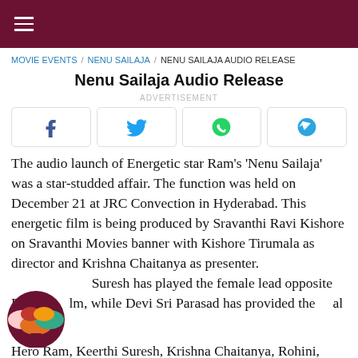≡
MOVIE EVENTS / NENU SAILAJA / NENU SAILAJA AUDIO RELEASE
Nenu Sailaja Audio Release
ADVERTISEMENT
[Figure (other): Social share buttons: Facebook, Twitter, WhatsApp, Telegram]
The audio launch of Energetic star Ram's 'Nenu Sailaja' was a star-studded affair. The function was held on December 21 at JRC Convection in Hyderabad. This energetic film is being produced by Sravanthi Ravi Kishore on Sravanthi Movies banner with Kishore Tirumala as director and Krishna Chaitanya as presenter. Keerthi Suresh has played the female lead opposite Ram in the film, while Devi Sri Parasad has provided the musical scores.
Hero Ram, Keerthi Suresh, Krishna Chaitanya, Rohini, Naresh, Sravanthi Ravi Kishore, Tirumala Prasad...